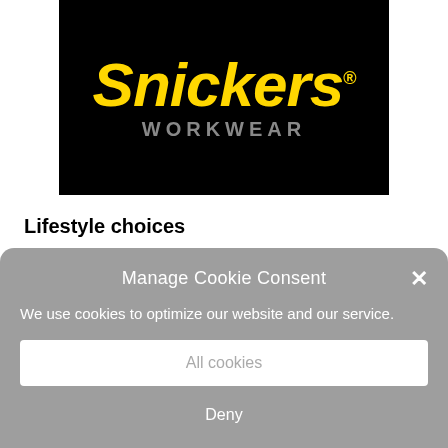[Figure (logo): Snickers Workwear logo — black background with yellow italic 'Snickers' text with registered trademark symbol, and grey 'WORKWEAR' text below]
Lifestyle choices
Manage Cookie Consent
We use cookies to optimize our website and our service.
All cookies
Deny